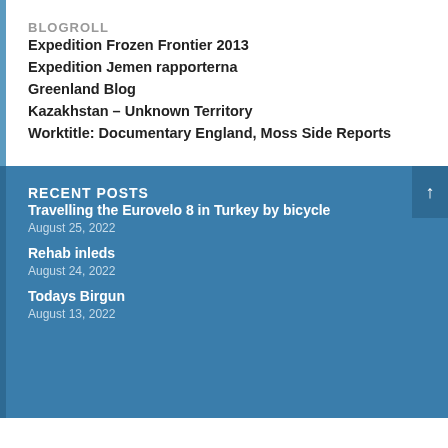BLOGROLL
Expedition Frozen Frontier 2013
Expedition Jemen rapporterna
Greenland Blog
Kazakhstan – Unknown Territory
Worktitle: Documentary England, Moss Side Reports
RECENT POSTS
Travelling the Eurovelo 8 in Turkey by bicycle
August 25, 2022
Rehab inleds
August 24, 2022
Todays Birgun
August 13, 2022